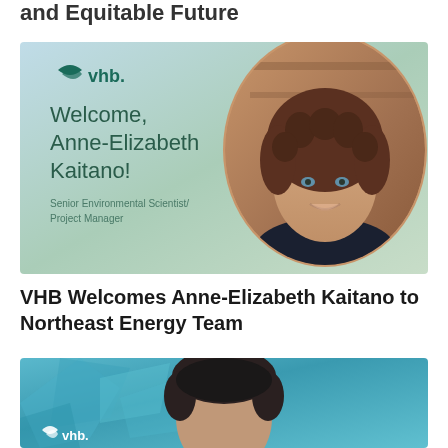and Equitable Future
[Figure (photo): VHB welcome card for Anne-Elizabeth Kaitano featuring the VHB logo, welcome text, her name, title 'Senior Environmental Scientist/Project Manager', and a circular portrait photo of a woman with curly brown hair smiling]
VHB Welcomes Anne-Elizabeth Kaitano to Northeast Energy Team
[Figure (photo): VHB welcome card showing a man with dark hair against a teal/blue geometric polygon background, partially cut off at the bottom]